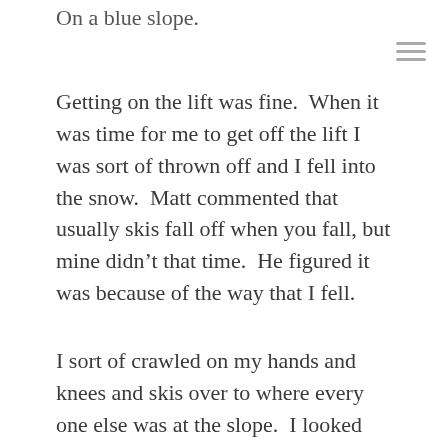On a blue slope.
Getting on the lift was fine.  When it was time for me to get off the lift I was sort of thrown off and I fell into the snow.  Matt commented that usually skis fall off when you fall, but mine didn't that time.  He figured it was because of the way that I fell.
I sort of crawled on my hands and knees and skis over to where every one else was at the slope.  I looked down.
And panicked.
It was what at the time appeared to be straight down.  I tried to move, but I would just start sliding down that hill and I didn't know what to